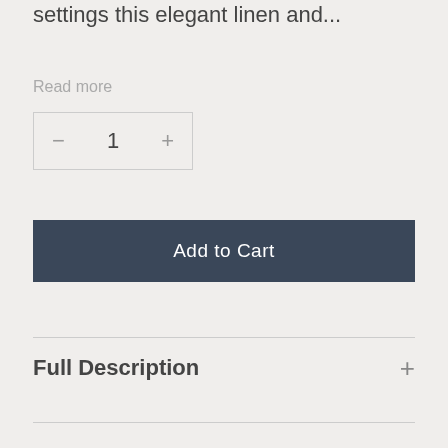settings this elegant linen and...
Read more
1
Add to Cart
Full Description